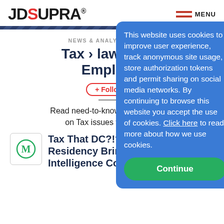[Figure (logo): JD Supra logo with red S and registered trademark symbol]
[Figure (other): Hamburger menu icon with two red bars and MENU label]
[Figure (other): Diagonal striped navy divider bar]
NEWS & ANALYSIS AS OF...
Tax › law-new... Employ...
+ Follow
Read need-to-know updates, ... sis on Tax issues written by ...
This website uses cookies to improve user experience, track anonymous site usage, store authorization tokens and permit sharing on social media networks. By continuing to browse this website you accept the use of cookies. Click here to read more about how we use cookies.
Continue
[Figure (logo): M icon thumbnail for article]
Tax That DC?!?! Residency Bring... Intelligence Company into the